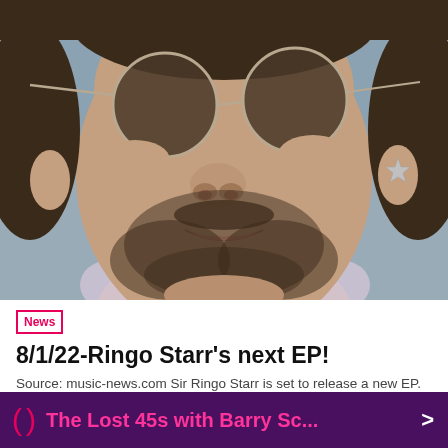[Figure (photo): Close-up photo of a middle-aged man with dark sunglasses, dark beard and mustache, visible earring shaped like a star on his right ear, wearing a light-colored shirt. The background is blurred and grey-blue.]
News
8/1/22-Ringo Starr's next EP!
Source: music-news.com Sir Ringo Starr is set to release a new EP.
( )  The Lost 45s with Barry Sc...  >